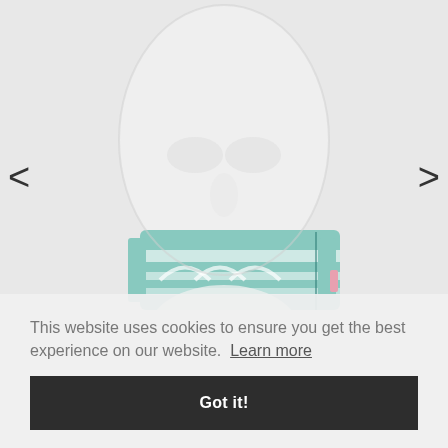[Figure (photo): Close-up photo of a mannequin head wearing a teal/mint and white patterned fabric face mask. The mannequin is white/transparent. Navigation arrows (< and >) are visible on the left and right sides of the image.]
This website uses cookies to ensure you get the best experience on our website.  Learn more
Got it!